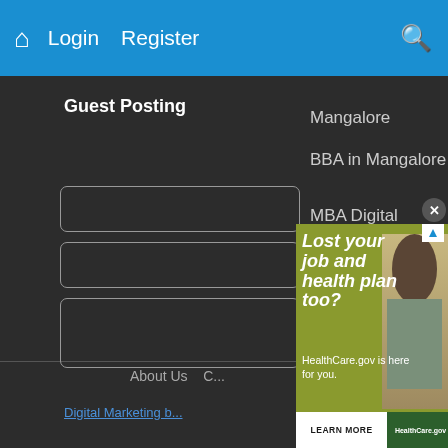Home  Login  Register  [search icon]
Guest Posting
Mangalore
BBA in Mangalore
MBA Digital Marketing
[Figure (screenshot): Web form with multiple input fields (text boxes) on dark background, partially obscured by advertisement overlay]
[Figure (infographic): HealthCare.gov advertisement overlay: 'Lost your job and health plan too? HealthCare.gov is here for you.' with woman holding a box of belongings. Bottom bar: LEARN MORE | HealthCare.gov]
About Us
Digital Marketing b...